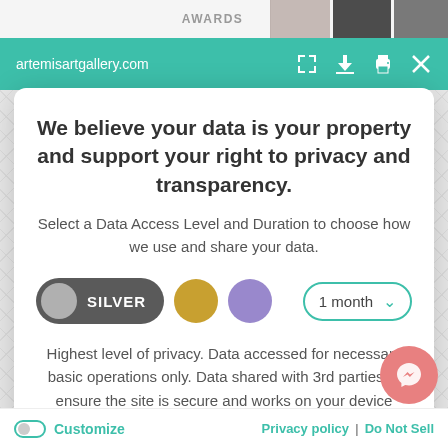[Figure (screenshot): Browser toolbar showing artemisartgallery.com URL in teal bar with icons]
We believe your data is your property and support your right to privacy and transparency.
Select a Data Access Level and Duration to choose how we use and share your data.
[Figure (infographic): Privacy level selection controls: Silver toggle button, gold circle, purple circle, and 1 month dropdown]
Highest level of privacy. Data accessed for necessary basic operations only. Data shared with 3rd parties to ensure the site is secure and works on your device
[Figure (infographic): Save my preferences button (teal rounded rectangle)]
[Figure (infographic): Messenger chat bubble (pink/salmon circle with lightning bolt icon)]
Customize   Privacy policy | Do Not Sell